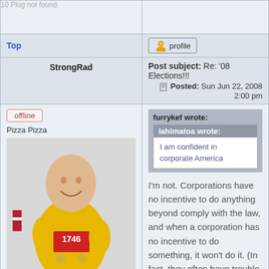10 Plug not found
Top
[Figure (screenshot): Profile button with user icon]
StrongRad
Post subject: Re: '08 Elections!!! Posted: Sun Jun 22, 2008 2:00 pm
[Figure (photo): Man in yellow shirt wearing race medals, number 1746]
Joined: Tue Jun 22, 2004 4:05 pm
Posts: 10451
Location: probably the penalty box
furrykef wrote:
lahimatoa wrote:
I am confident in corporate America

I'm not. Corporations have no incentive to do anything beyond comply with the law, and when a corporation has no incentive to do something, it won't do it. (In fact, they often have trouble complying with the law as it is.)

- Kef